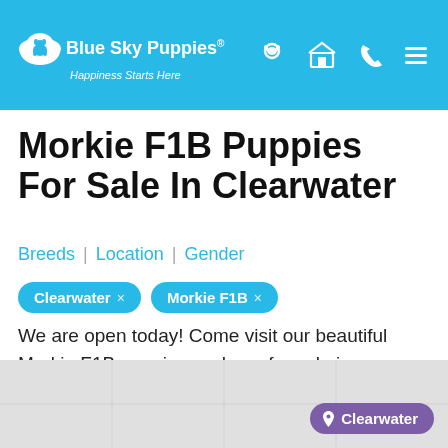Blue Sky Puppies® — Happiness Starts Here
Morkie F1B Puppies For Sale In Clearwater
Breeds | Location | Gender
Clearwater × | Morkie F1B ×
We are open today! Come visit our beautiful Morkie F1B puppies we have for sale in Clearwater at Blue Sky Puppies!
[Figure (map): Map area with purple Clearwater location badge]